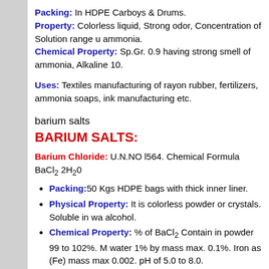Packing: In HDPE Carboys & Drums. Property: Colorless liquid, Strong odor, Concentration of Solution range u ammonia. Chemical Property: Sp.Gr. 0.9 having strong smell of ammonia, Alkaline 10.
Uses: Textiles manufacturing of rayon rubber, fertilizers, ammonia soaps, ink manufacturing etc.
barium salts
BARIUM SALTS:
Barium Chloride: U.N.NO l564. Chemical Formula BaCl2 2H2O
Packing: 50 Kgs HDPE bags with thick inner liner.
Physical Property: It is colorless powder or crystals. Soluble in wa alcohol.
Chemical Property: % of BaCl2 Contain in powder 99 to 102%. M water 1% by mass max. 0.1%. Iron as (Fe) mass max 0.002. pH of 5.0 to 8.0.
Uses: In textile Dyeing, Manufacturing of white leather & Boiler co other barium compounds such as Hydroxide, Chromate, Sulphate e